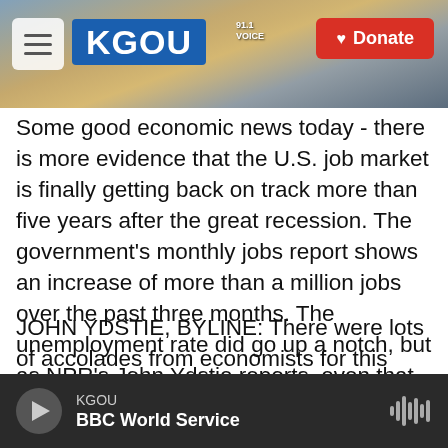[Figure (screenshot): KGOU radio website header with hamburger menu, KGOU logo in blue, tagline, city skyline photo background, and red Donate button]
Some good economic news today - there is more evidence that the U.S. job market is finally getting back on track more than five years after the great recession. The government's monthly jobs report shows an increase of more than a million jobs over the past three months. The unemployment rate did go up a notch, but as NPR's John Ydstie reports, even that is a positive sign.
JOHN YDSTIE, BYLINE: There were lots of accolades from economists for this jobs report. John Silvia, chief economist at Wells Fargo, says it's the best report in five years.
KGOU  BBC World Service